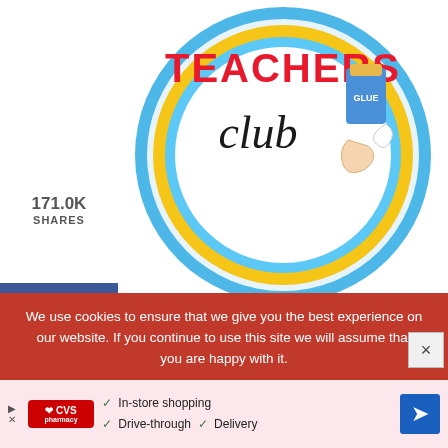[Figure (logo): Teachers Club logo — circular badge with blue background, yellow ring, red bold text TEACHERS at top, black cursive 'club' script in center, glue bottle illustration to the right]
171.0K SHARES
[Figure (infographic): Facebook share button with 'f' icon and count 45]
[Figure (infographic): Twitter share button with bird icon]
[Figure (infographic): Pinterest share button with 'p' icon and count 170.9K]
EXCLUSIVE RESOURCES 1200+ DIGITAL GAMES 300+ FREEBIES
We use cookies to ensure that we give you the best experience on our website. If you continue to use this site we will assume that you are happy with it.
[Figure (infographic): CVS Pharmacy advertisement banner showing In-store shopping, Drive-through, Delivery options with CVS logo and navigation arrow]